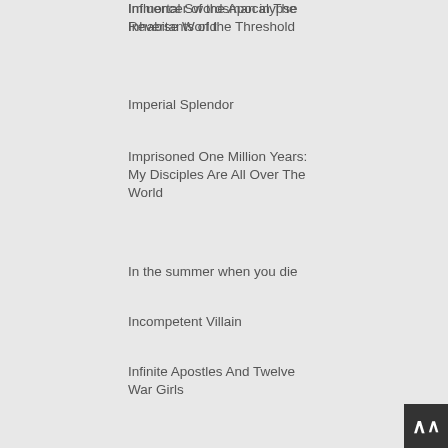Immortal Swordsman in The Reverse World
Imperial Splendor
Imprisoned One Million Years: My Disciples Are All Over The World
In the summer when you die
Incompetent Villain
Infinite Apostles And Twelve War Girls
Influencer of the Apocalypse
Inhabitants of the Threshold